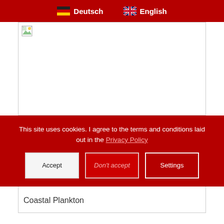Deutsch   English
[Figure (photo): Broken image placeholder in a bordered white box]
This site uses cookies. I agree to the terms and conditions laid out in the Privacy Policy
Accept   Don't accept   Settings
Coastal Plankton